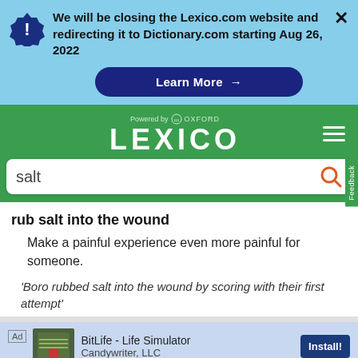We will be closing the Lexico.com website and redirecting it to Dictionary.com starting Aug 26, 2022
Learn More →
[Figure (logo): Lexico powered by Oxford logo on green header with hamburger menu]
salt
rub salt into the wound
Make a painful experience even more painful for someone.
'Boro rubbed salt into the wound by scoring with their first attempt'
Ad BitLife - Life Simulator Candywriter, LLC Install!